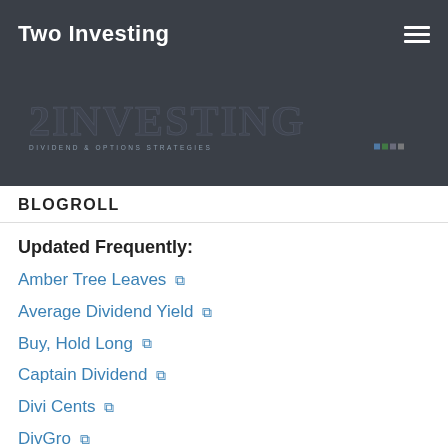Two Investing
[Figure (logo): 2 Investing logo with text 'DIVIDEND & OPTIONS STRATEGIES' and decorative lettering]
BLOGROLL
Updated Frequently:
Amber Tree Leaves
Average Dividend Yield
Buy, Hold Long
Captain Dividend
Divi Cents
DivGro
DivHut
Dividend Cake
Dividend Daze
Dividend Diplomats
Dividends Diversify